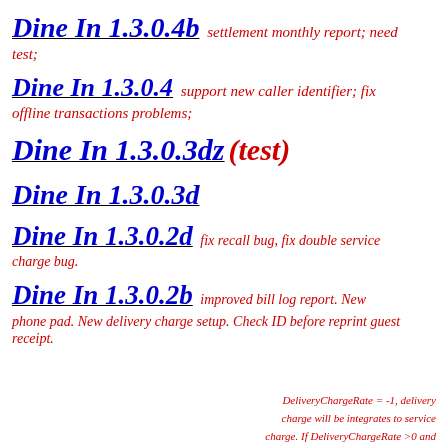Dine In 1.3.0.4b
settlement monthly report; need test;
Dine In 1.3.0.4
support new caller identifier; fix offline transactions problems;
Dine In 1.3.0.3dz (test)
Dine In 1.3.0.3d
Dine In 1.3.0.2d
fix recall bug, fix double service charge bug.
Dine In 1.3.0.2b
improved bill log report. New phone pad. New delivery charge setup. Check ID before reprint guest receipt.
DeliveryChargeRate = -1, delivery charge will be integrates to service charge. If DeliveryChargeRate >0 and